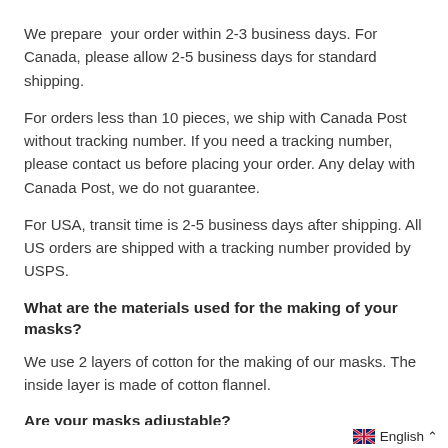We prepare  your order within 2-3 business days. For Canada, please allow 2-5 business days for standard shipping.
For orders less than 10 pieces, we ship with Canada Post without tracking number. If you need a tracking number, please contact us before placing your order. Any delay with Canada Post, we do not guarantee.
For USA, transit time is 2-5 business days after shipping. All US orders are shipped with a tracking number provided by USPS.
What are the materials used for the making of your masks?
We use 2 layers of cotton for the making of our masks. The inside layer is made of cotton flannel.
Are your masks adjustable?
The ear straps of our masks are made of cotton and lycra for an absolute confort. You can adjust the length of the straps by tying the knots for a perfect fit.
English